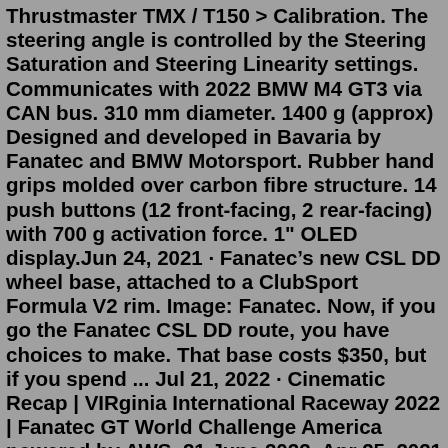Thrustmaster TMX / T150 > Calibration. The steering angle is controlled by the Steering Saturation and Steering Linearity settings. Communicates with 2022 BMW M4 GT3 via CAN bus. 310 mm diameter. 1400 g (approx) Designed and developed in Bavaria by Fanatec and BMW Motorsport. Rubber hand grips molded over carbon fibre structure. 14 push buttons (12 front-facing, 2 rear-facing) with 700 g activation force. 1" OLED display.Jun 24, 2021 · Fanatec's new CSL DD wheel base, attached to a ClubSport Formula V2 rim. Image: Fanatec. Now, if you go the Fanatec CSL DD route, you have choices to make. That base costs $350, but if you spend ... Jul 21, 2022 · Cinematic Recap | VIRginia International Raceway 2022 | Fanatec GT World Challenge America powered by AWS. 21 June 2022. Apr 25, 2021 · As the newest member of the Fanatec family, the CSL DD is already causing an almighty stir in the sim racing industry. Appropriately dubbed ‘The New StandarDD,’ by the manufacturer, this brand-new piece of kit is now available (currently for delivery on